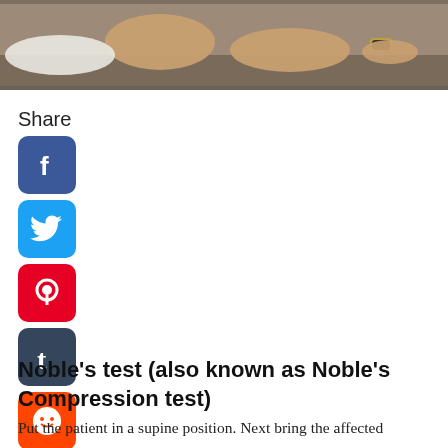[Figure (photo): Partial photo showing a person lying in supine position, legs/feet visible resting on a surface, with another person's hands visible nearby. Bottom portion of a clinical/medical photo.]
Share
[Figure (infographic): Social media share buttons column: Facebook (blue), Twitter (cyan), Pinterest (red), Tumblr (dark blue), Reddit (orange), WhatsApp (green)]
Noble's test (also known as Noble's Compression test)
Put the patient in a supine position. Next bring the affected